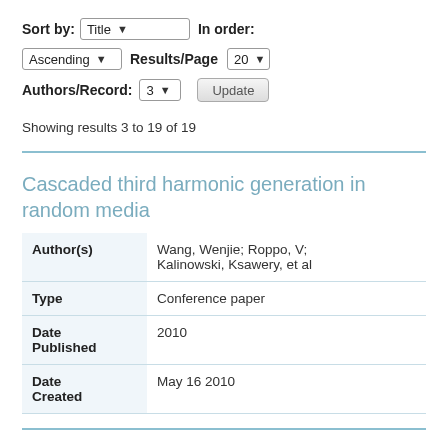Sort by: Title  In order:
Ascending  Results/Page 20
Authors/Record: 3  Update
Showing results 3 to 19 of 19
Cascaded third harmonic generation in random media
|  |  |
| --- | --- |
| Author(s) | Wang, Wenjie; Roppo, V; Kalinowski, Ksawery, et al |
| Type | Conference paper |
| Date Published | 2010 |
| Date Created | May 16 2010 |